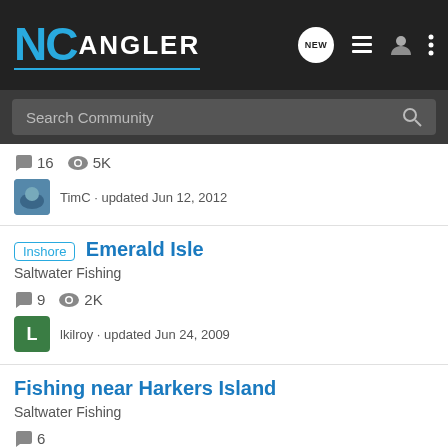NC Angler
Search Community
16 comments · 5K views
TimC · updated Jun 12, 2012
Inshore Emerald Isle
Saltwater Fishing
9 comments · 2K views
lkilroy · updated Jun 24, 2009
Fishing near Harkers Island
Saltwater Fishing
6 comments
[Figure (photo): Advertisement: YOUR NEW FAVORITE SPORT - EXPLORE HOW TO RESPONSIBLY PARTICIPATE IN THE SHOOTING SPORTS. START HERE!]